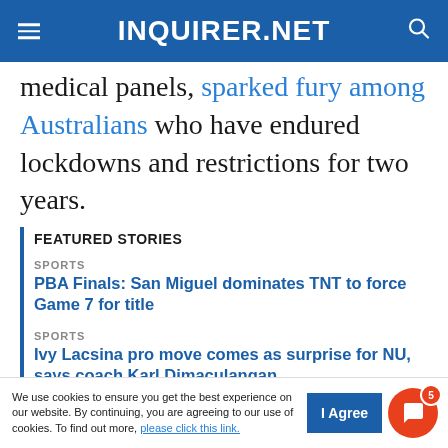INQUIRER.NET
medical panels, sparked fury among Australians who have endured lockdowns and restrictions for two years.
FEATURED STORIES
SPORTS
PBA Finals: San Miguel dominates TNT to force Game 7 for title
SPORTS
Ivy Lacsina pro move comes as surprise for NU, says coach Karl Dimaculangan
SPORTS
[partial headline cut off]
We use cookies to ensure you get the best experience on our website. By continuing, you are agreeing to our use of cookies. To find out more, please click this link.